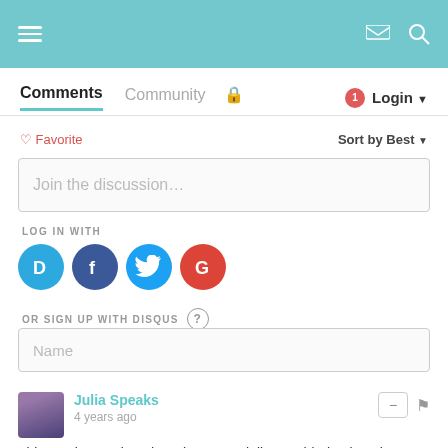Navigation header with hamburger menu, email icon, and search icon
Comments  Community  🔒  1  Login ▾
♡ Favorite    Sort by Best ▾
Join the discussion…
LOG IN WITH
[Figure (logo): Social login icons: Disqus (D), Facebook (F), Twitter bird, Google (G)]
OR SIGN UP WITH DISQUS ?
Name
Julia Speaks
4 years ago
This mask sounds rather nice, especially considering its price -